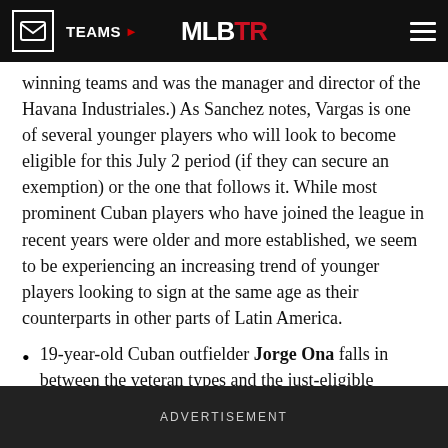TEAMS ▶   MLBTR
winning teams and was the manager and director of the Havana Industriales.) As Sanchez notes, Vargas is one of several younger players who will look to become eligible for this July 2 period (if they can secure an exemption) or the one that follows it. While most prominent Cuban players who have joined the league in recent years were older and more established, we seem to be experiencing an increasing trend of younger players looking to sign at the same age as their counterparts in other parts of Latin America.
19-year-old Cuban outfielder Jorge Ona falls in between the veteran types and the just-eligible teenagers. As Ben Badler of Baseball America writes,
ADVERTISEMENT